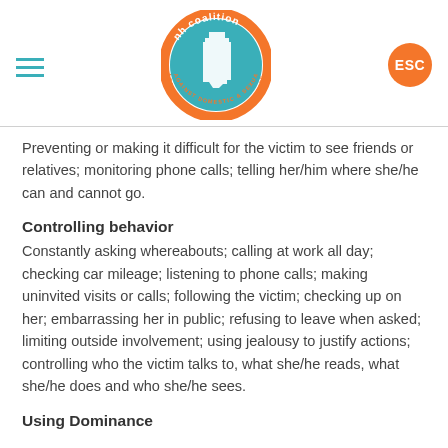[Figure (logo): NH Coalition Against Domestic & Sexual Violence circular logo with teal background and white NH state silhouette, orange text around the border]
Preventing or making it difficult for the victim to see friends or relatives; monitoring phone calls; telling her/him where she/he can and cannot go.
Controlling behavior
Constantly asking whereabouts; calling at work all day; checking car mileage; listening to phone calls; making uninvited visits or calls; following the victim; checking up on her; embarrassing her in public; refusing to leave when asked; limiting outside involvement; using jealousy to justify actions; controlling who the victim talks to, what she/he reads, what she/he does and who she/he sees.
Using Dominance